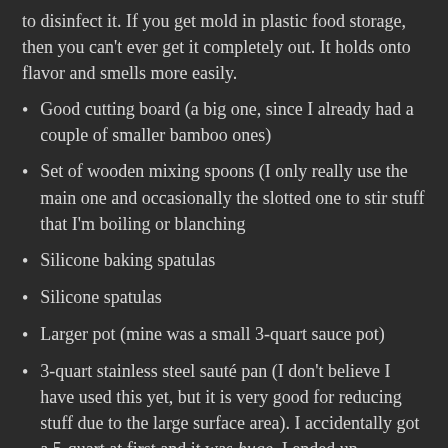to disinfect it. If you get mold in plastic food storage, then you can't ever get it completely out. It holds onto flavor and smells more easily.
Good cutting board (a big one, since I already had a couple of smaller bamboo ones)
Set of wooden mixing spoons (I only really use the main one and occasionally the slotted one to stir stuff that I'm boiling or blanching
Silicone baking spatulas
Silicone spatulas
Larger pot (mine was a small 3-quart sauce pot)
3-quart stainless steel sauté pan (I don't believe I have used this yet, but it is very good for reducing stuff due to the large surface area). I accidentally got a 5-quart at first and it was huge. I ended up